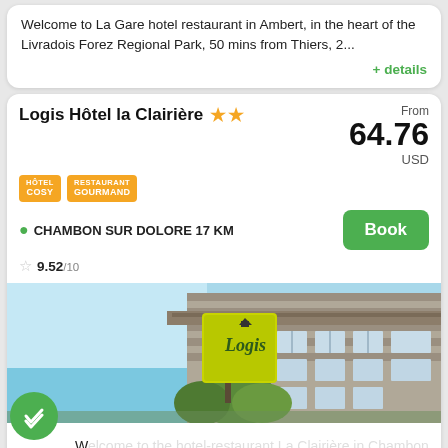Welcome to La Gare hotel restaurant in Ambert, in the heart of the Livradois Forez Regional Park, 50 mins from Thiers, 2...
+ details
Logis Hôtel la Clairière ★ ★
From 64.76 USD
HÔTEL COSY | RESTAURANT GOURMAND
CHAMBON SUR DOLORE 17 KM
Book
9.52/10
[Figure (photo): Exterior photo of Logis Hôtel la Clairière showing the Logis sign and building facade]
Welcome to the hotel-restaurant La Clairière in Chambon sur Dolore in the heart of the Livradois Forez Regional Park, 20...